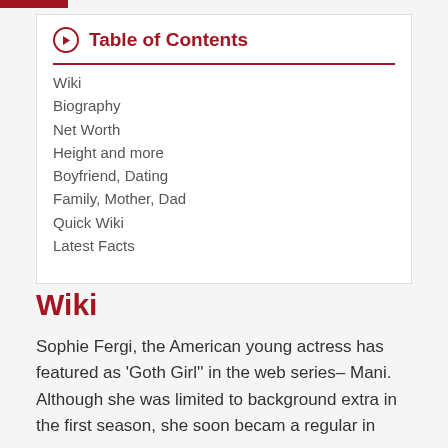Table of Contents
Wiki
Biography
Net Worth
Height and more
Boyfriend, Dating
Family, Mother, Dad
Quick Wiki
Latest Facts
Wiki
Sophie Fergi, the American young actress has featured as ‘Goth Girl’’ in the web series– Mani. Although she was limited to background extra in the first season, she soon became a regular in